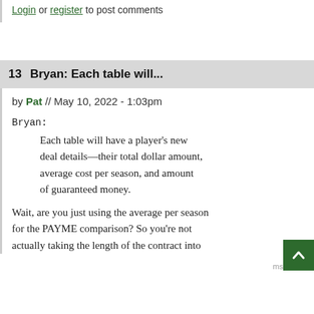Login or register to post comments
13   Bryan: Each table will...
by Pat // May 10, 2022 - 1:03pm
Bryan:
Each table will have a player's new deal details—their total dollar amount, average cost per season, and amount of guaranteed money.
Wait, are you just using the average per season for the PAYME comparison? So you're not actually taking the length of the contract into